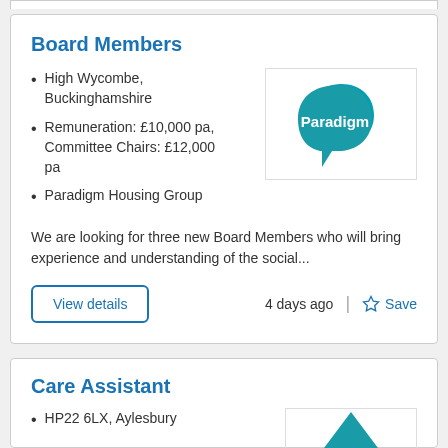Board Members
High Wycombe, Buckinghamshire
Remuneration: £10,000 pa, Committee Chairs: £12,000 pa
Paradigm Housing Group
[Figure (logo): Paradigm Housing Group logo — a teal speech-bubble/P shape with the word Paradigm in white]
We are looking for three new Board Members who will bring experience and understanding of the social...
4 days ago
Care Assistant
HP22 6LX, Aylesbury